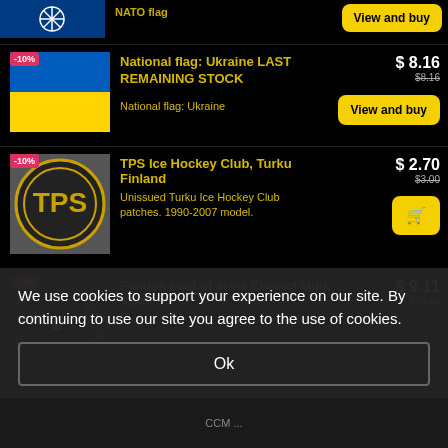[Figure (screenshot): Partial product image - top of page, blue background with partial flag]
View and buy
-10%
[Figure (photo): Ukraine flag - blue and yellow horizontal stripes]
National flag: Ukraine LAST REMAINING STOCK
National flag: Ukraine
$ 8.16
$8.16
View and buy
-10%
[Figure (photo): TPS Ice Hockey Club circular patch/badge on dark background]
TPS Ice Hockey Club, Turku Finland
Unissued Turku Ice Hockey Club patches. 1990-2007 model.
$ 2.70
$3.00
-10%
[Figure (photo): Black enamel mug with coat of arms print]
Finnish coat of arms Enamel Mug, 3,5dl
$ 9.11
$10.13
We use cookies to support your experience on our site. By continuing to use our site you agree to the use of cookies.
Ok